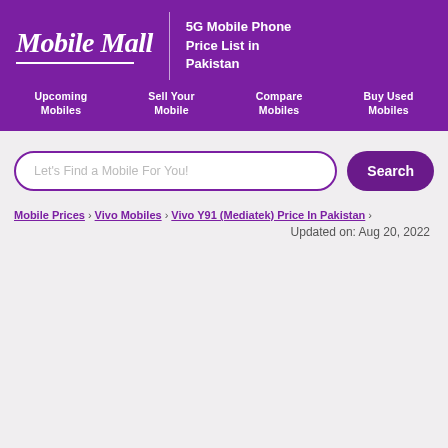Mobile Mall — 5G Mobile Phone Price List in Pakistan
Upcoming Mobiles
Sell Your Mobile
Compare Mobiles
Buy Used Mobiles
Let's Find a Mobile For You!
Mobile Prices › Vivo Mobiles › Vivo Y91 (Mediatek) Price In Pakistan ›
Updated on: Aug 20, 2022